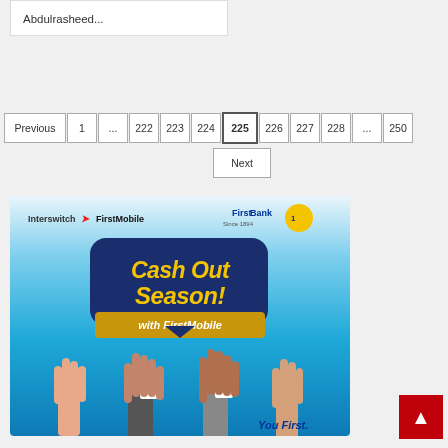Abdulrasheed...
Previous 1 ... 222 223 224 225 226 227 228 ... 250
Next
[Figure (photo): FirstBank / Interswitch FirstMobile advertisement. Dark blue rounded sign reading 'Cash Out Season!' in gold text, with 'with FirstMobile' on a gold banner below. Interswitch and FirstBank logos at top. Hands raised from bottom. 'You First.' text at bottom right.]